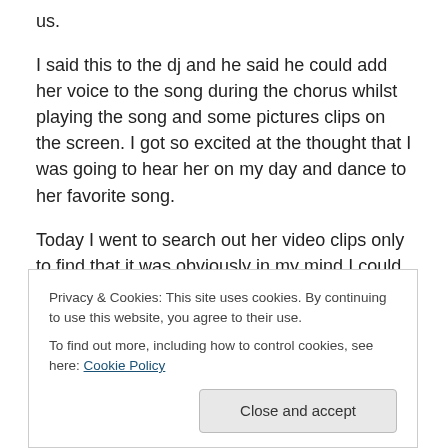us.

I said this to the dj and he said he could add her voice to the song during the chorus whilst playing the song and some pictures clips on the screen. I got so excited at the thought that I was going to hear her on my day and dance to her favorite song.

Today I went to search out her video clips only to find that it was obviously in my mind I could hear her sing the song and not that she had recorded it at all, how could I have got it so wrong? I can hear her sing it right now
Privacy & Cookies: This site uses cookies. By continuing to use this website, you agree to their use.
To find out more, including how to control cookies, see here: Cookie Policy